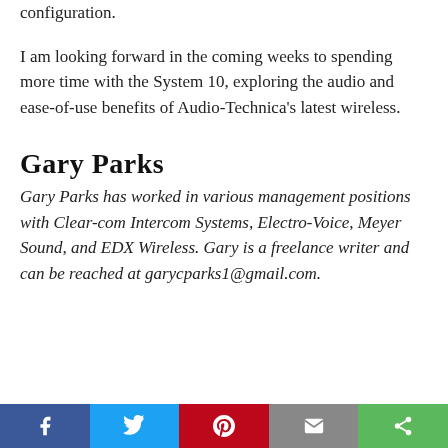configuration.
I am looking forward in the coming weeks to spending more time with the System 10, exploring the audio and ease-of-use benefits of Audio-Technica's latest wireless.
Gary Parks
Gary Parks has worked in various management positions with Clear-com Intercom Systems, Electro-Voice, Meyer Sound, and EDX Wireless. Gary is a freelance writer and can be reached at garycparks1@gmail.com.